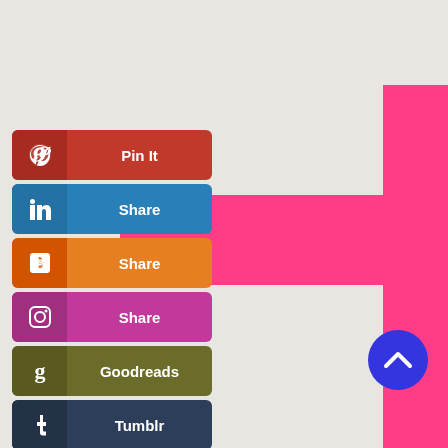[Figure (illustration): Pink plus/cross shape spanning the page horizontally and vertically, centered around 383px x and 240px y]
[Figure (infographic): Social media share button panel with buttons: Pin It (Pinterest, red), Share (LinkedIn, blue), Share (Blogger, orange), Share (Instagram, pink/purple), Goodreads (olive green), Tumblr (dark navy), More (gray)]
[Figure (illustration): Blue circular up/chevron button in lower right corner]